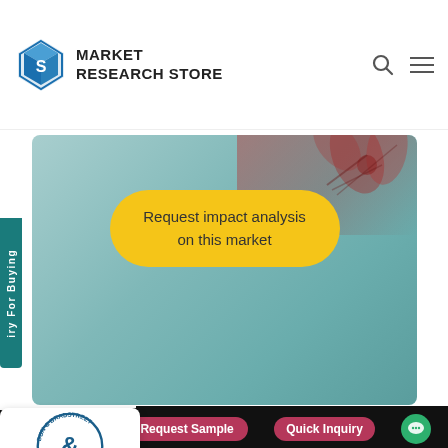[Figure (logo): Market Research Store logo with blue cube icon and bold text reading MARKET RESEARCH STORE]
[Figure (photo): Banner image showing a yellow rounded button with text 'Request impact analysis on this market' overlaid on a teal/blue background with flower/virus close-up photography in top right]
[Figure (logo): Dun & Bradstreet D-U-N-S Registered badge/seal in blue and white]
We use cookies to offer you a better browsing experience.
[Figure (infographic): Bottom action bar with three pink/red pill buttons: Buy Now, Request Sample, Quick Inquiry, and a green chat bubble icon]